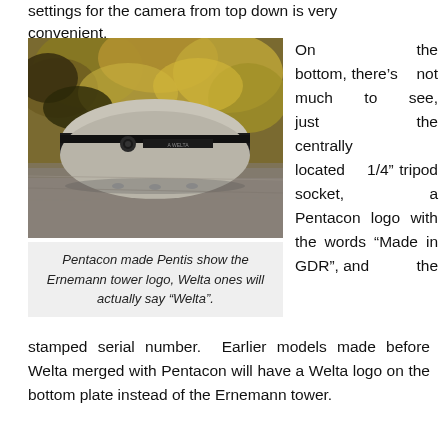settings for the camera from top down is very convenient.
[Figure (photo): Photo of a Welta/Pentacon Pentis camera viewed from the front, resting on a stone surface with foliage in the background. The camera has a distinctive oval/pebble shape with a black center band and silver/chrome ends.]
Pentacon made Pentis show the Ernemann tower logo, Welta ones will actually say "Welta".
On the bottom, there's not much to see, just the centrally located 1/4" tripod socket, a Pentacon logo with the words "Made in GDR", and the stamped serial number. Earlier models made before Welta merged with Pentacon will have a Welta logo on the bottom plate instead of the Ernemann tower.